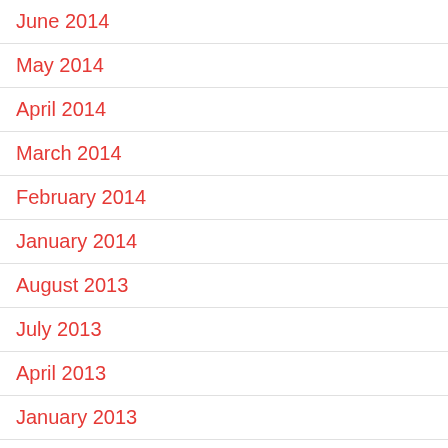June 2014
May 2014
April 2014
March 2014
February 2014
January 2014
August 2013
July 2013
April 2013
January 2013
December 2012
November 2012
October 2012